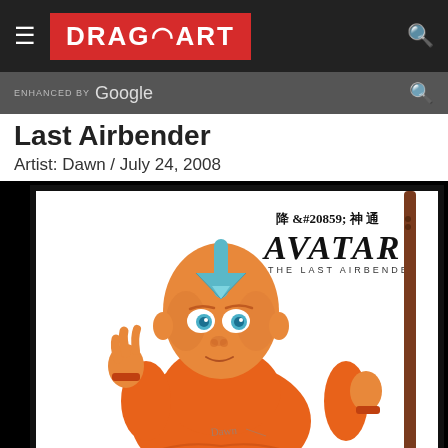DRAGOART (navigation bar with hamburger menu and search icon)
ENHANCED BY Google
Last Airbender
Artist: Dawn / July 24, 2008
[Figure (illustration): Fan art illustration of Aang from Avatar: The Last Airbender, a bald boy with a blue arrow tattoo on his forehead, wearing orange robes, holding a wooden staff, with the Avatar: The Last Airbender logo and Chinese characters in the upper right corner]